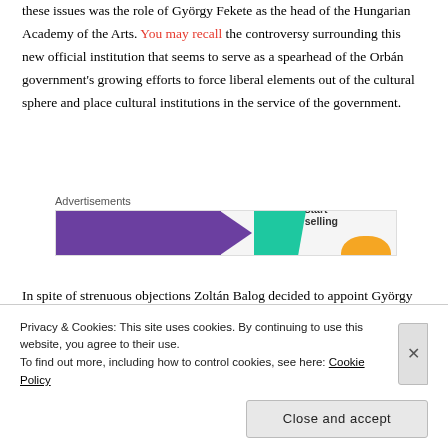these issues was the role of György Fekete as the head of the Hungarian Academy of the Arts. You may recall the controversy surrounding this new official institution that seems to serve as a spearhead of the Orbán government's growing efforts to force liberal elements out of the cultural sphere and place cultural institutions in the service of the government.
[Figure (screenshot): Advertisement banner with purple bar, teal chevron shape, orange leaf shape, and text 'How to start selling']
In spite of strenuous objections Zoltán Balog decided to appoint György Fekete to head the Academy of Arts, and it seems that this was too much for L. Simon, who objected to his appointment. But L. Simon...
Privacy & Cookies: This site uses cookies. By continuing to use this website, you agree to their use.
To find out more, including how to control cookies, see here: Cookie Policy
Close and accept